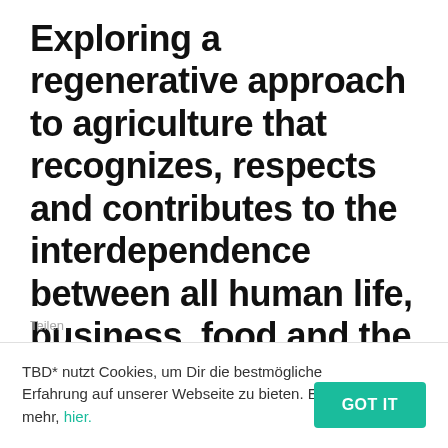Exploring a regenerative approach to agriculture that recognizes, respects and contributes to the interdependence between all human life, business, food and the soil and climate on which they depend.
Teilen
TBD* nutzt Cookies, um Dir die bestmögliche Erfahrung auf unserer Webseite zu bieten. Erfahre mehr, hier.